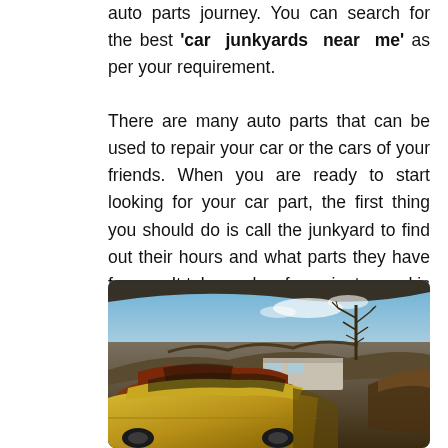auto parts journey. You can search for the best 'car junkyards near me' as per your requirement.
There are many auto parts that can be used to repair your car or the cars of your friends. When you are ready to start looking for your car part, the first thing you should do is call the junkyard to find out their hours and what parts they have for you. It takes only a few minutes and is quick.
[Figure (photo): A junkyard scene with old abandoned cars including a yellow car in the foreground and rusted red car behind it, with a pile of scrap metal and a bare tree against a blue sky in the background.]